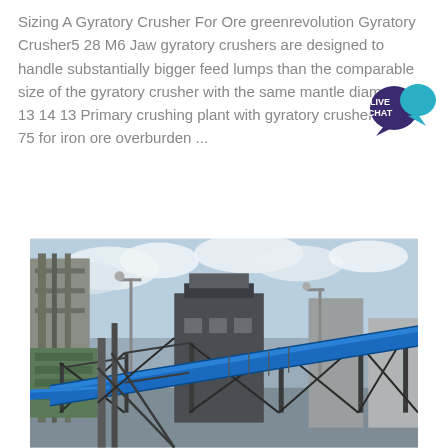Sizing A Gyratory Crusher For Ore greenrevolution Gyratory Crusher5 28 M6 Jaw gyratory crushers are designed to handle substantially bigger feed lumps than the comparable size of the gyratory crusher with the same mantle diameter 2 13 14 13 Primary crushing plant with gyratory crusher KB 63 75 for iron ore overburden ...
[Figure (photo): Industrial crushing plant facility showing conveyor belts covered in blue enclosures, metal structural supports and scaffolding, industrial buildings and infrastructure in the background under a cloudy sky.]